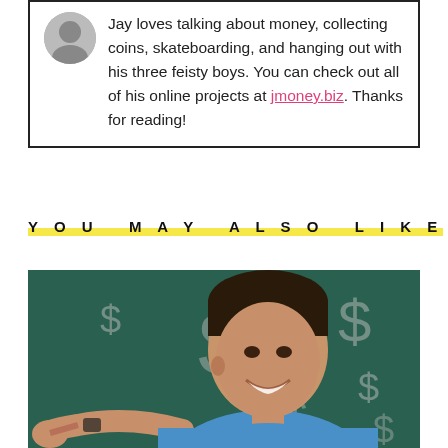Jay loves talking about money, collecting coins, skateboarding, and hanging out with his three feisty boys. You can check out all of his online projects at jmoney.biz. Thanks for reading!
YOU MAY ALSO LIKE
[Figure (photo): Photo of a smiling man in a blue shirt pointing at the camera, with large dollar sign symbols overlaid on a dark green background]